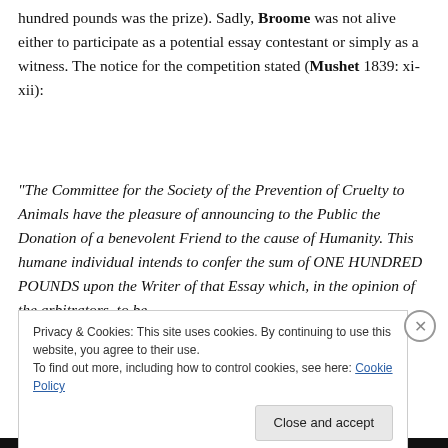hundred pounds was the prize). Sadly, Broome was not alive either to participate as a potential essay contestant or simply as a witness. The notice for the competition stated (Mushet 1839: xi-xii):
“The Committee for the Society of the Prevention of Cruelty to Animals have the pleasure of announcing to the Public the Donation of a benevolent Friend to the cause of Humanity. This humane individual intends to confer the sum of ONE HUNDRED POUNDS upon the Writer of that Essay which, in the opinion of the arbitrators, to be
Privacy & Cookies: This site uses cookies. By continuing to use this website, you agree to their use.
To find out more, including how to control cookies, see here: Cookie Policy